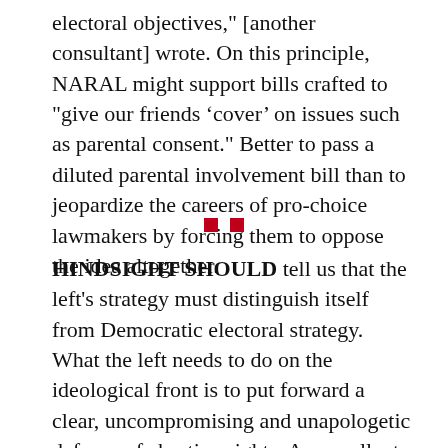electoral objectives," [another consultant] wrote. On this principle, NARAL might support bills crafted to "give our friends 'cover' on issues such as parental consent." Better to pass a diluted parental involvement bill than to jeopardize the careers of pro-choice lawmakers by forcing them to oppose the idea altogether.
[Figure (other): Two small red squares used as a decorative section divider]
HINDSIGHT SHOULD tell us that the left's strategy must distinguish itself from Democratic electoral strategy. What the left needs to do on the ideological front is to put forward a clear, uncompromising and unapologetic defense of abortion rights. An excellent example of how to do so is provided by Dr. Willie Parker, whose recent book, Life's Work: A Moral Argument for Choice, is required reading for all those wishing to advance the struggle for reproductive